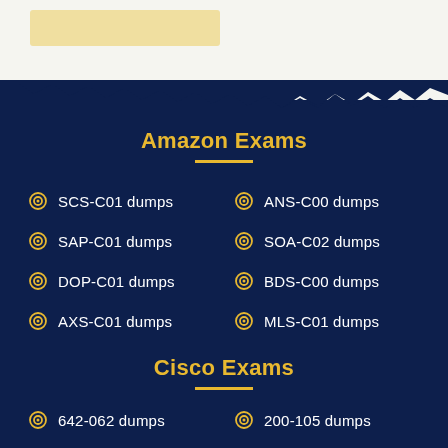[Figure (illustration): Yellow/beige rectangular bar on light gray/cream background top section, representing a logo or banner area]
Amazon Exams
SCS-C01 dumps
ANS-C00 dumps
SAP-C01 dumps
SOA-C02 dumps
DOP-C01 dumps
BDS-C00 dumps
AXS-C01 dumps
MLS-C01 dumps
Cisco Exams
642-062 dumps
200-105 dumps